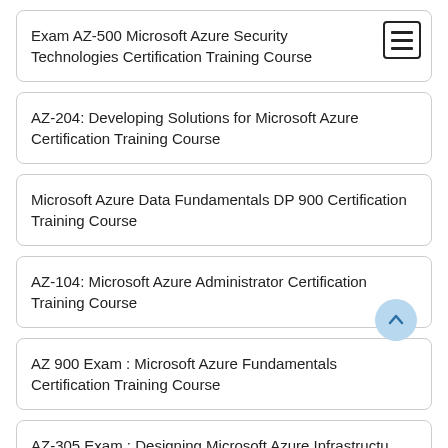Exam AZ-500 Microsoft Azure Security Technologies Certification Training Course
AZ-204: Developing Solutions for Microsoft Azure Certification Training Course
Microsoft Azure Data Fundamentals DP 900 Certification Training Course
AZ-104: Microsoft Azure Administrator Certification Training Course
AZ 900 Exam : Microsoft Azure Fundamentals Certification Training Course
AZ-305 Exam : Designing Microsoft Azure Infrastructure...